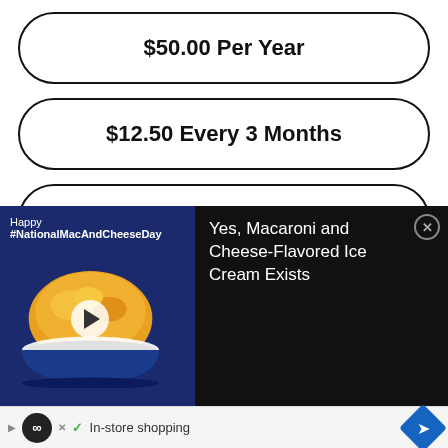$50.00 Per Year
$12.50 Every 3 Months
$5.00 Per Month
Choose your membership or
[Figure (screenshot): Advertisement: Happy #NationalMacAndCheeseDay with mac and cheese ice cream image and text 'Yes, Macaroni and Cheese-Flavored Ice Cream Exists']
[Figure (screenshot): Bottom ad bar with loop icon, play/close buttons, checkmark, 'In-store shopping' text, and blue navigation diamond]